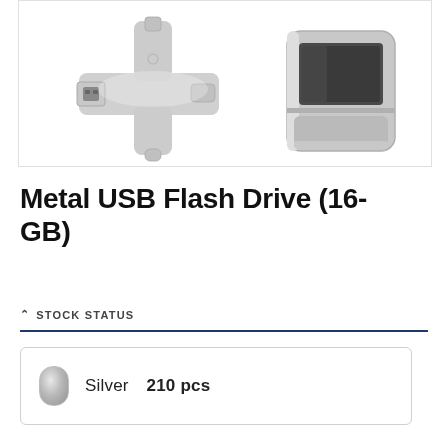[Figure (photo): Two silver metal USB flash drives shown against white background. Left item is a 4-in-1 cross-shaped metal USB drive with multiple connector types. Right item is a silver metal rectangular storage case/tin box with a dark panel on top.]
Metal USB Flash Drive (16-GB)
STOCK STATUS
Silver   210 pcs